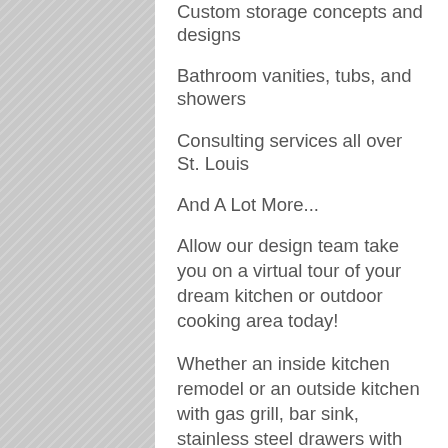Custom storage concepts and designs
Bathroom vanities, tubs, and showers
Consulting services all over St. Louis
And A Lot More...
Allow our design team take you on a virtual tour of your dream kitchen or outdoor cooking area today!
Whether an inside kitchen remodel or an outside kitchen with gas grill, bar sink, stainless steel drawers with concrete countertops... you're guests will be amazed with your lovely kitchen.
The specialist designers at STL Kitchen & Bath Renovations can produce the awesome cooking space that you'll take pleasure in entertaining from for several years to come.